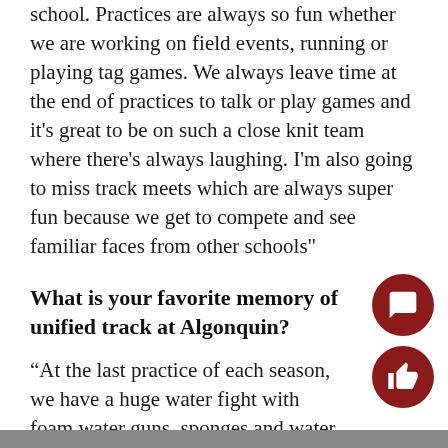school. Practices are always so fun whether we are working on field events, running or playing tag games. We always leave time at the end of practices to talk or play games and it's great to be on such a close knit team where there's always laughing. I'm also going to miss track meets which are always super fun because we get to compete and see familiar faces from other schools"
What is your favorite memory of unified track at Algonquin?
“At the last practice of each season, we have a huge water fight with foam water guns, sponges and water balloons as a way to celebrate the season. That’s my favorite practice and memory because it’s always so fun and a great way to end for the year.”